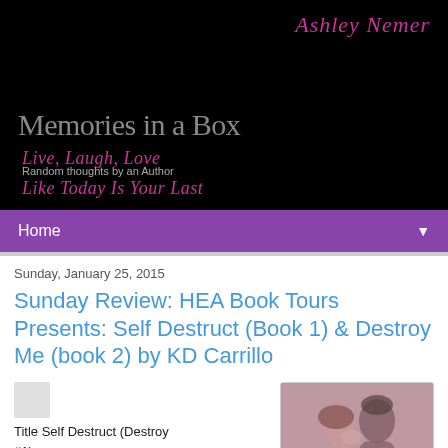Ashley Nemer
Memories in a Box
Live, Laugh, Love
Like Today Is Your Last
Random thoughts by an Author
Home
Sunday, January 25, 2015
Sunday Review: HEA Book Tours Presents: Self Destruct (Book 1) & Destroy Me (book 2) by KD Carrillo
Title Self Destruct (Destroy #1)
Author K. D. Carrillo
Genre Romancing for the...
[Figure (photo): Cover photo of a couple, man and woman in close embrace]